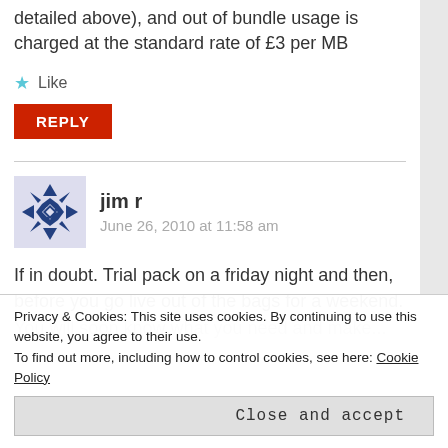detailed above), and out of bundle usage is charged at the standard rate of £3 per MB
Like
REPLY
jim r
June 26, 2010 at 11:58 am
If in doubt. Trial pack on a friday night and then, before you go live out of the bags for a weekend. You will soon know what you need and make...
Privacy & Cookies: This site uses cookies. By continuing to use this website, you agree to their use.
To find out more, including how to control cookies, see here: Cookie Policy
Close and accept